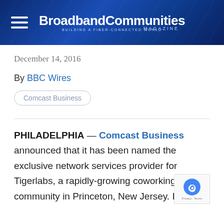BroadbandCommunities Magazine — Building a Fiber-Connected World
December 14, 2016
By BBC Wires
Comcast Business
PHILADELPHIA — Comcast Business announced that it has been named the exclusive network services provider for Tigerlabs, a rapidly-growing coworking community in Princeton, New Jersey. In